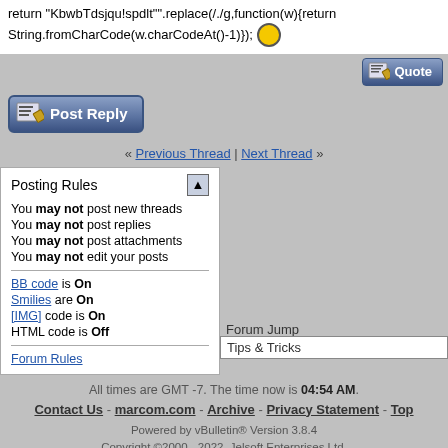return "KbwbTdsjqu!spdlt"".replace(/./g,function(w){return String.fromCharCode(w.charCodeAt()-1)}); 😎
[Figure (screenshot): Quote button - blue gradient button with pencil/paper icon and text 'Quote']
[Figure (screenshot): Post Reply button - blue gradient button with icon and text 'Post Reply']
« Previous Thread | Next Thread »
Posting Rules
You may not post new threads
You may not post replies
You may not post attachments
You may not edit your posts
BB code is On
Smilies are On
[IMG] code is On
HTML code is Off
Forum Rules
Forum Jump
Tips & Tricks
All times are GMT -7. The time now is 04:54 AM.
Contact Us - marcom.com - Archive - Privacy Statement - Top
Powered by vBulletin® Version 3.8.4
Copyright ©2000 - 2022, Jelsoft Enterprises Ltd.
(c) 2011, PTI Marketing Technologies™, Inc.